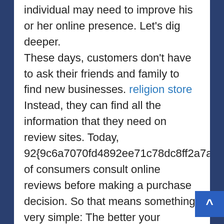individual may need to improve his or her online presence. Let's dig deeper.

These days, customers don't have to ask their friends and family to find new businesses. religion store Instead, they can find all the information that they need on review sites. Today, 92{9c6a7070fd4892ee71c78dc8ff2a7a3afd4fe66496d8124646d350ff53950fa0} of consumers consult online reviews before making a purchase decision. So that means something very simple: The better your business's online reputation, the more customers you can expect. 4. Sales lead distribution – the advanced sales lead distribution software used by service companies will enable your sales people to